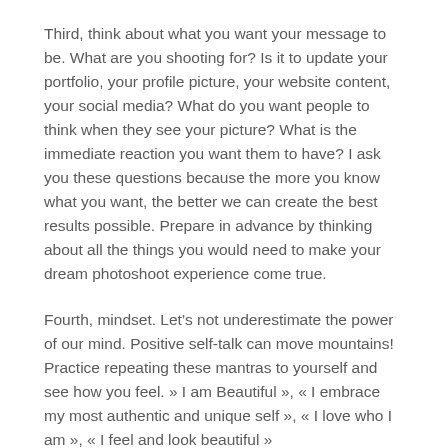Third, think about what you want your message to be. What are you shooting for? Is it to update your portfolio, your profile picture, your website content, your social media? What do you want people to think when they see your picture? What is the immediate reaction you want them to have? I ask you these questions because the more you know what you want, the better we can create the best results possible. Prepare in advance by thinking about all the things you would need to make your dream photoshoot experience come true.
Fourth, mindset. Let’s not underestimate the power of our mind. Positive self-talk can move mountains! Practice repeating these mantras to yourself and see how you feel. » I am Beautiful », « I embrace my most authentic and unique self », « I love who I am », « I feel and look beautiful »